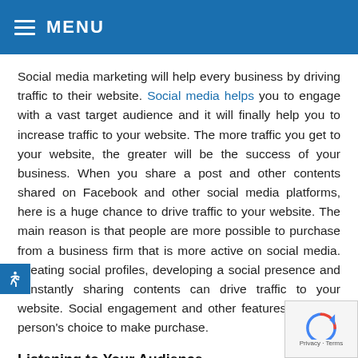MENU
Social media marketing will help every business by driving traffic to their website. Social media helps you to engage with a vast target audience and it will finally help you to increase traffic to your website. The more traffic you get to your website, the greater will be the success of your business. When you share a post and other contents shared on Facebook and other social media platforms, here is a huge chance to drive traffic to your website. The main reason is that people are more possible to purchase from a business firm that is more active on social media. Creating social profiles, developing a social presence and constantly sharing contents can drive traffic to your website. Social engagement and other features add to a person's choice to make purchase.
Listening to Your Audience
In every business listening your audience or clients needs